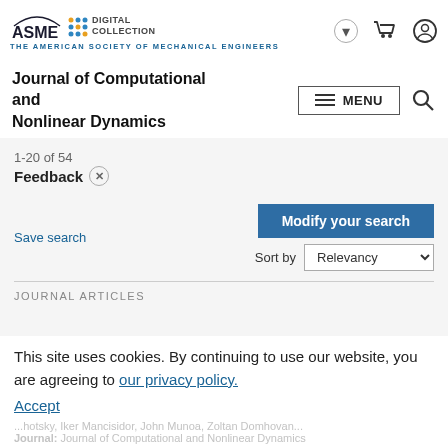ASME DIGITAL COLLECTION | THE AMERICAN SOCIETY OF MECHANICAL ENGINEERS
Journal of Computational and Nonlinear Dynamics
1-20 of 54
Feedback ×
Save search | Modify your search | Sort by Relevancy
JOURNAL ARTICLES
This site uses cookies. By continuing to use our website, you are agreeing to our privacy policy. Accept